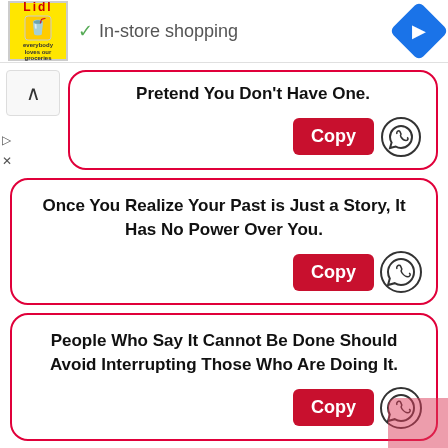[Figure (screenshot): App ad bar with Lidl logo, checkmark, In-store shopping text, and navigation icon]
Pretend You Don't Have One.
Copy
Once You Realize Your Past is Just a Story, It Has No Power Over You.
Copy
People Who Say It Cannot Be Done Should Avoid Interrupting Those Who Are Doing It.
Copy